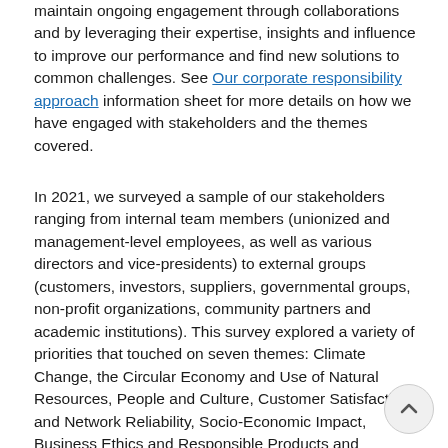maintain ongoing engagement through collaborations and by leveraging their expertise, insights and influence to improve our performance and find new solutions to common challenges. See Our corporate responsibility approach information sheet for more details on how we have engaged with stakeholders and the themes covered.
In 2021, we surveyed a sample of our stakeholders ranging from internal team members (unionized and management-level employees, as well as various directors and vice-presidents) to external groups (customers, investors, suppliers, governmental groups, non-profit organizations, community partners and academic institutions). This survey explored a variety of priorities that touched on seven themes: Climate Change, the Circular Economy and Use of Natural Resources, People and Culture, Customer Satisfaction and Network Reliability, Socio-Economic Impact, Business Ethics and Responsible Products and Services. Each theme covers related topics, producing a wide range of issues addressing almost 50 different priorities. For more details on our analysis, see Our corporate responsibility approach information sheet. We also asked our stakeholders which Sustainable